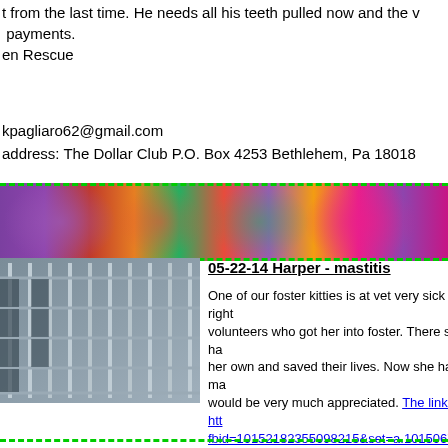t from the last time. He needs all his teeth pulled now and the v payments.
en Rescue
kpagliaro62@gmail.com
address: The Dollar Club P.O. Box 4253 Bethlehem, Pa 18018
[Figure (photo): Colorful flower banner with purple, pink, green, red and orange petals]
[Figure (photo): Metal animal cage/kennel photograph]
05-22-14 Harper - mastitis
One of our foster kitties is at vet very sick right now. volunteers who got her into foster. There she ha her own and saved their lives. Now she has ma would be very much appreciated. The link is htt fbid=10152182355098215&set=a.101506788 6
PayPal: cwhisten@comporium.net (for Harper)
Mailing: Long's Animal Hospital 2523 South Blv 704-523-2996 (For Harper Under Montgomery)